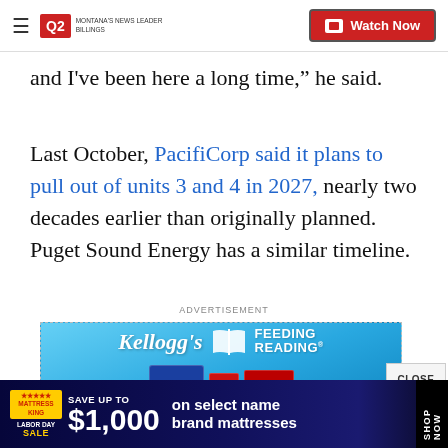Q2 Montana's News Leader | Watch Now
and I've been here a long time," he said.
Last October, PacifiCorp said it plans to pull out of units 3 and 4 in 2027, nearly two decades earlier than originally planned. Puget Sound Energy has a similar timeline.
ADVERTISEMENT
[Figure (photo): Kellogg's Feeding Reading advertisement showing Frosted Flakes and other cereal boxes on a blue background]
ADVERTISEMENT
[Figure (photo): Mattress King advertisement: Save up to $1,000 on select name brand mattresses, Labor Day Sale, Shop Now]